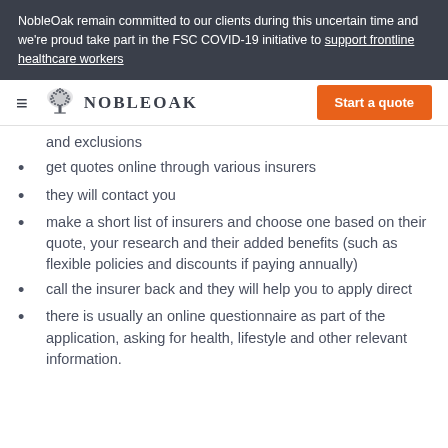NobleOak remain committed to our clients during this uncertain time and we're proud take part in the FSC COVID-19 initiative to support frontline healthcare workers
[Figure (logo): NobleOak logo with tree icon and company name]
and exclusions
get quotes online through various insurers
they will contact you
make a short list of insurers and choose one based on their quote, your research and their added benefits (such as flexible policies and discounts if paying annually)
call the insurer back and they will help you to apply direct
there is usually an online questionnaire as part of the application, asking for health, lifestyle and other relevant information.